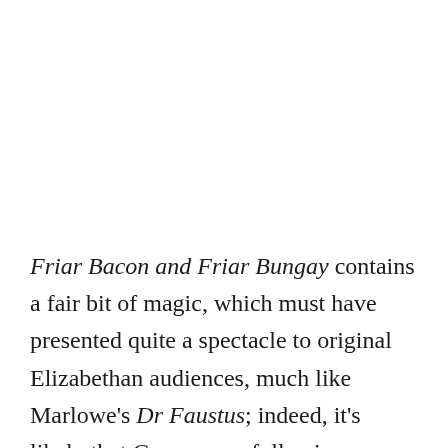Friar Bacon and Friar Bungay contains a fair bit of magic, which must have presented quite a spectacle to original Elizabethan audiences, much like Marlowe's Dr Faustus; indeed, it's likely that Greene was following Marlowe's lead by writing a play containing so many magical elements. The play also introduced me to a charming piece of false